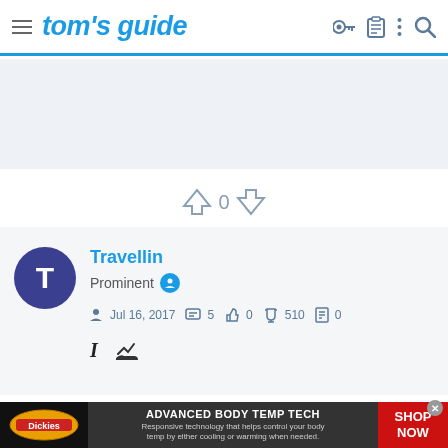tom's guide
[Figure (screenshot): Light blue-gray advertisement placeholder banner area]
0
Travellin
Prominent
Jul 16, 2017  5  0  510  0
[Figure (other): Dickies ADVANCED BODY TEMP TECH advertisement banner - SHOP NOW]